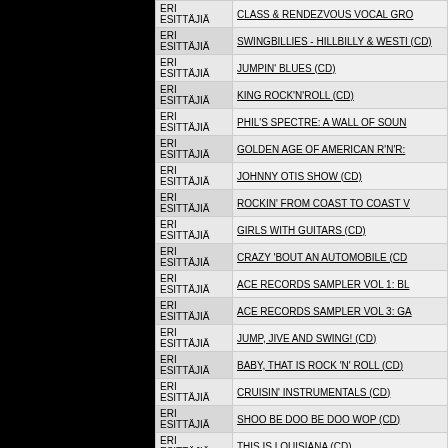| Performer | Title |
| --- | --- |
| ERI ESITTÄJIÄ | CLASS & RENDEZVOUS VOCAL GRO... |
| ERI ESITTÄJIÄ | SWINGBILLIES - HILLBILLY & WESTI... (CD) |
| ERI ESITTÄJIÄ | JUMPIN' BLUES (CD) |
| ERI ESITTÄJIÄ | KING ROCK'N'ROLL (CD) |
| ERI ESITTÄJIÄ | PHIL'S SPECTRE: A WALL OF SOUN... |
| ERI ESITTÄJIÄ | GOLDEN AGE OF AMERICAN R'N'R:... |
| ERI ESITTÄJIÄ | JOHNNY OTIS SHOW (CD) |
| ERI ESITTÄJIÄ | ROCKIN' FROM COAST TO COAST V... |
| ERI ESITTÄJIÄ | GIRLS WITH GUITARS (CD) |
| ERI ESITTÄJIÄ | CRAZY 'BOUT AN AUTOMOBILE (CD... |
| ERI ESITTÄJIÄ | ACE RECORDS SAMPLER VOL 1: BL... |
| ERI ESITTÄJIÄ | ACE RECORDS SAMPLER VOL 3: GA... |
| ERI ESITTÄJIÄ | JUMP, JIVE AND SWING! (CD) |
| ERI ESITTÄJIÄ | BABY, THAT IS ROCK 'N' ROLL (CD) |
| ERI ESITTÄJIÄ | CRUISIN' INSTRUMENTALS (CD) |
| ERI ESITTÄJIÄ | SHOO BE DOO BE DOO WOP (CD) |
| ERI ESITTÄJIÄ | THIS IS LOUISIANA (CD) |
| ERI ESITTÄJIÄ | CAJUN CLASSICS (CD) |